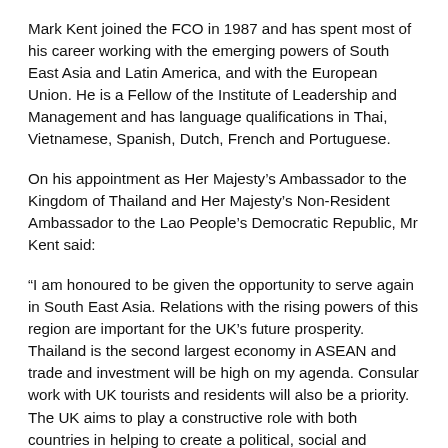Mark Kent joined the FCO in 1987 and has spent most of his career working with the emerging powers of South East Asia and Latin America, and with the European Union. He is a Fellow of the Institute of Leadership and Management and has language qualifications in Thai, Vietnamese, Spanish, Dutch, French and Portuguese.
On his appointment as Her Majesty’s Ambassador to the Kingdom of Thailand and Her Majesty’s Non-Resident Ambassador to the Lao People’s Democratic Republic, Mr Kent said:
“I am honoured to be given the opportunity to serve again in South East Asia. Relations with the rising powers of this region are important for the UK’s future prosperity. Thailand is the second largest economy in ASEAN and trade and investment will be high on my agenda. Consular work with UK tourists and residents will also be a priority. The UK aims to play a constructive role with both countries in helping to create a political, social and economic environment which is conducive to fostering further growth in trade, investment, tourism and enhancing our wider relationship, as well as encouraging a strong role within ASEAN and on wider global